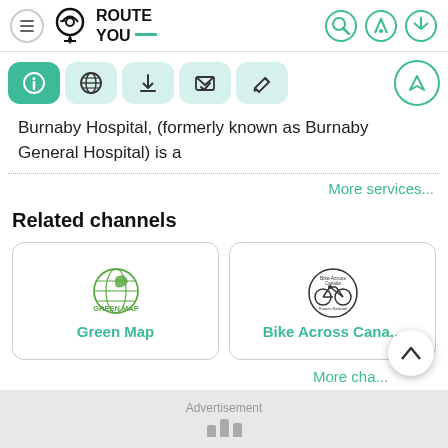[Figure (logo): RouteYou logo with navigation pin icon and text ROUTE YOU]
[Figure (screenshot): Toolbar with 5 icon buttons: info (active/teal), globe, download, envelope/check, pencil; and a navigation arrow button on the right]
Burnaby Hospital, (formerly known as Burnaby General Hospital) is a
More services...
Related channels
[Figure (logo): Green Map logo - globe with leaf design]
Green Map
[Figure (logo): Bike Across Canada Routes Network circular logo with bicycle]
Bike Across Cana...
More cha...
Advertisement